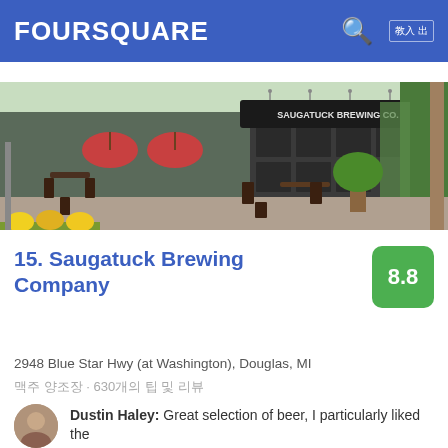FOURSQUARE
without any yard games.
[Figure (photo): Outdoor patio of Saugatuck Brewing Company with hanging flower baskets, potted trees, patio furniture, and a red umbrella. The building facade displays a sign reading SAUGATUCK BREWING CO.]
15. Saugatuck Brewing Company
2948 Blue Star Hwy (at Washington), Douglas, MI
맥주 양조장 · 630개의 팁 및 리뷰
Dustin Haley: Great selection of beer, I particularly liked the